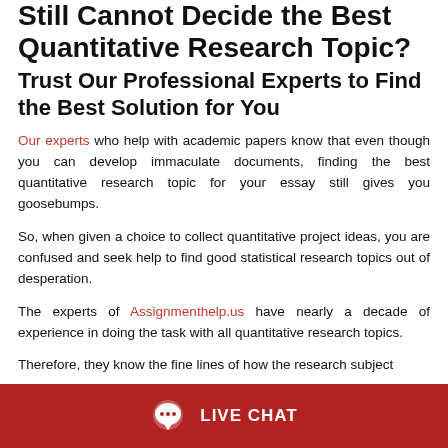Still Cannot Decide the Best Quantitative Research Topic?
Trust Our Professional Experts to Find the Best Solution for You
Our experts who help with academic papers know that even though you can develop immaculate documents, finding the best quantitative research topic for your essay still gives you goosebumps.
So, when given a choice to collect quantitative project ideas, you are confused and seek help to find good statistical research topics out of desperation.
The experts of Assignmenthelp.us have nearly a decade of experience in doing the task with all quantitative research topics.
Therefore, they know the fine lines of how the research subject
LIVE CHAT